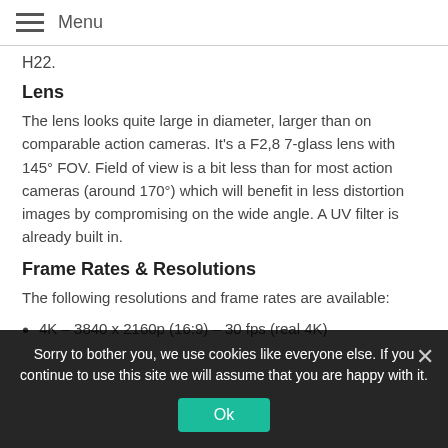Menu
H22.
Lens
The lens looks quite large in diameter, larger than on comparable action cameras. It's a F2,8 7-glass lens with 145° FOV. Field of view is a bit less than for most action cameras (around 170°) which will benefit in less distortion images by compromising on the wide angle. A UV filter is already built in.
Frame Rates & Resolutions
The following resolutions and frame rates are available:
4K – 3840 x 2160p (16:9) – 30 fps (real 4K)
Sorry to bother you, we use cookies like everyone else. If you continue to use this site we will assume that you are happy with it.